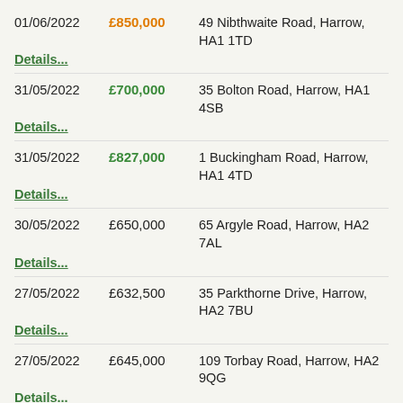01/06/2022 £850,000 49 Nibthwaite Road, Harrow, HA1 1TD Details...
31/05/2022 £700,000 35 Bolton Road, Harrow, HA1 4SB Details...
31/05/2022 £827,000 1 Buckingham Road, Harrow, HA1 4TD Details...
30/05/2022 £650,000 65 Argyle Road, Harrow, HA2 7AL Details...
27/05/2022 £632,500 35 Parkthorne Drive, Harrow, HA2 7BU Details...
27/05/2022 £645,000 109 Torbay Road, Harrow, HA2 9QG Details...
27/05/2022 £500,000 6 Torbay Road, Harrow, HA2 9QH Details...
27/05/2022 £510,000 37 College Road, Harrow